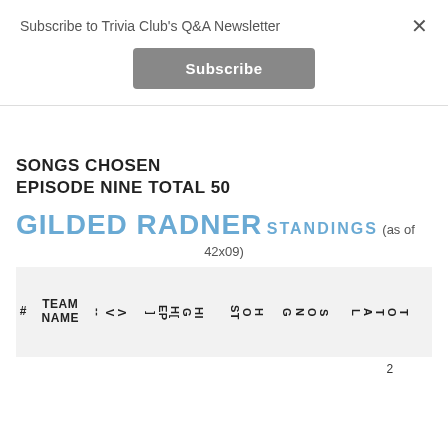Subscribe to Trivia Club's Q&A Newsletter
Subscribe
SONGS CHOSEN
EPISODE NINE TOTAL 50
GILDED RADNER STANDINGS (as of 42x09)
| # | TEAM NAME | Λ V -- | HI G H[ EP ] | H O ST | S O N G | T O T A L |
| --- | --- | --- | --- | --- | --- | --- |
|  |  |  |  |  |  | 2 |